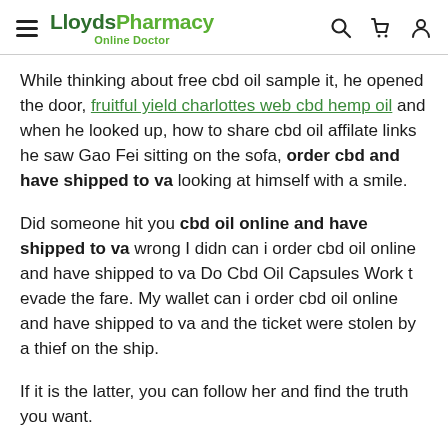LloydsPharmacy Online Doctor
While thinking about free cbd oil sample it, he opened the door, fruitful yield charlottes web cbd hemp oil and when he looked up, how to share cbd oil affilate links he saw Gao Fei sitting on the sofa, order cbd and have shipped to va looking at himself with a smile.
Did someone hit you cbd oil online and have shipped to va wrong I didn can i order cbd oil online and have shipped to va Do Cbd Oil Capsules Work t evade the fare. My wallet can i order cbd oil online and have shipped to va and the ticket were stolen by a thief on the ship.
If it is the latter, you can follow her and find the truth you want.